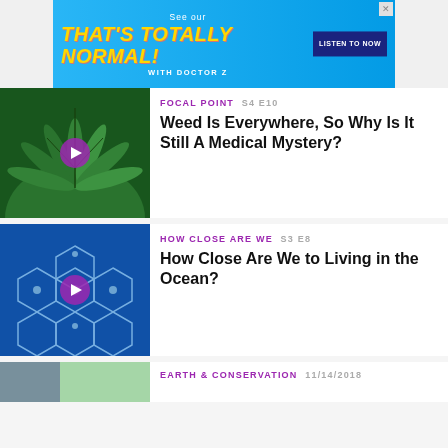[Figure (other): Advertisement banner: 'THAT'S TOTALLY NORMAL! WITH DOCTOR Z — LISTEN TO NOW' on blue background]
FOCAL POINT  S4 E10
Weed Is Everywhere, So Why Is It Still A Medical Mystery?
[Figure (photo): Close-up photo of cannabis/marijuana leaves, dark green]
HOW CLOSE ARE WE  S3 E8
How Close Are We to Living in the Ocean?
[Figure (photo): Blue background with hexagonal geometric pattern shapes arranged in a circular formation]
EARTH & CONSERVATION  11/14/2018